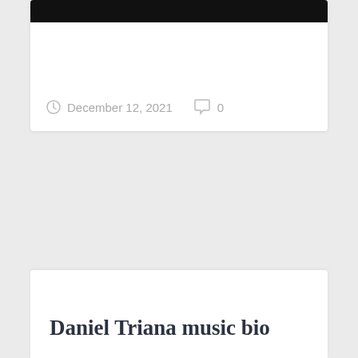[Figure (photo): Dark/black image banner at the top of a blog post card]
December 12, 2021   0
Daniel Triana music bio